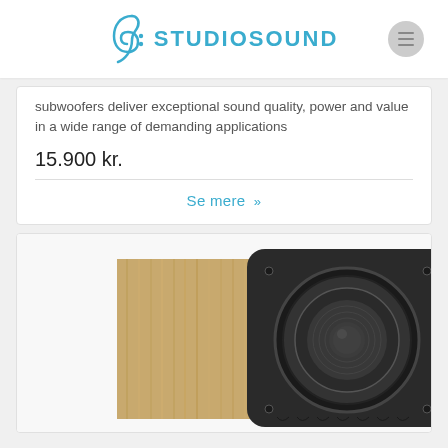StudioSound
subwoofers deliver exceptional sound quality, power and value in a wide range of demanding applications
15.900 kr.
Se mere »
[Figure (photo): A subwoofer speaker unit with a wooden side panel and black front, showing a circular driver cone]